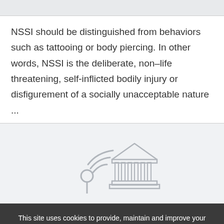[Figure (other): Light gray top bar / banner area at the top of the page]
NSSI should be distinguished from behaviors such as tattooing or body piercing. In other words, NSSI is the deliberate, non–life threatening, self-inflicted bodily injury or disfigurement of a socially unacceptable nature ...
[Figure (illustration): Gray icon illustration showing a location pin with wifi/signal waves and a classical building (institution/library) with columns, rendered in light gray outline style]
This site uses cookies to provide, maintain and improve your experience. MHE Privacy Center  Close